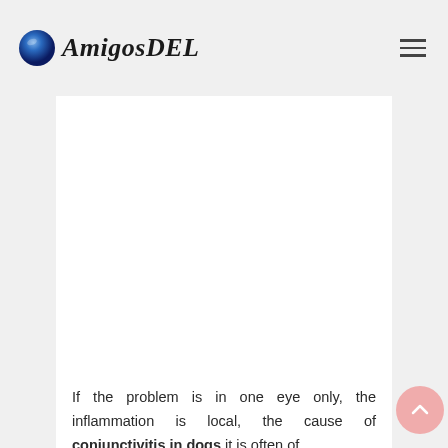AmigosDEL
[Figure (other): White content area / advertisement placeholder above the article text]
If the problem is in one eye only, the inflammation is local, the cause of conjunctivitis in dogs it is often of